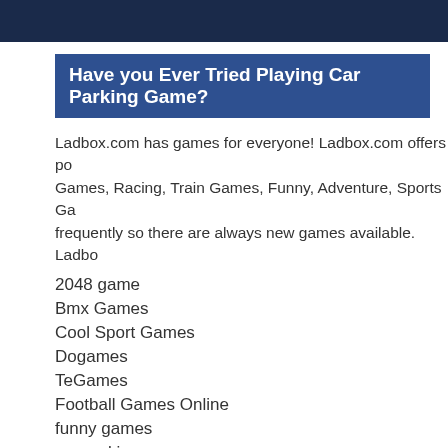Have you Ever Tried Playing Car Parking Game?
Ladbox.com has games for everyone! Ladbox.com offers po... Games, Racing, Train Games, Funny, Adventure, Sports Ga... frequently so there are always new games available. Ladbo...
2048 game
Bmx Games
Cool Sport Games
Dogames
TeGames
Football Games Online
funny games
car parking games
Fogames
pacman games
task games
You can go to this tags: Zombies games, Super Mario game...